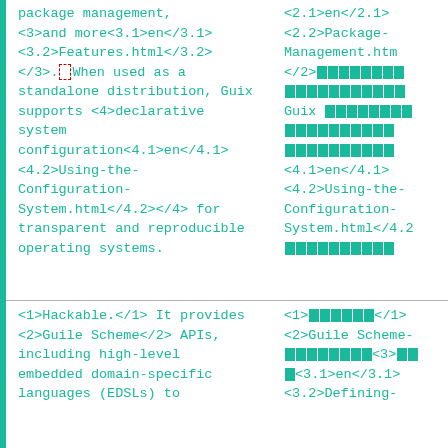package management, <3>and more<3.1>en</3.1><3.2>Features.html</3.2></3>. When used as a standalone distribution, Guix supports <4>declarative system configuration<4.1>en</4.1><4.2>Using-the-Configuration-System.html</4.2></4> for transparent and reproducible operating systems.
<2.1>en</2.1> <2.2>Package-Management.html</2.2> [blocks] Guix [blocks] [blocks] <4.1>en</4.1> <4.2>Using-the-Configuration-System.html</4.2> [blocks]
<1>Hackable.</1> It provides <2>Guile Scheme</2> APIs, including high-level embedded domain-specific languages (EDSLs) to
<1>[blocks]</1> <2>Guile Scheme-[blocks]<3>[blocks]<3.1>en</3.1><3.2>Defining-